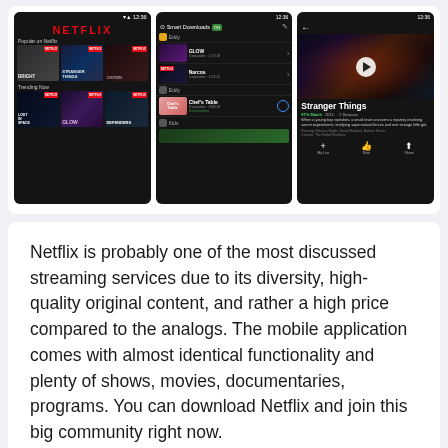[Figure (screenshot): Three Netflix mobile app screenshots side by side: (1) Netflix home screen showing 'Popular on Netflix' and 'Trending Now' rows with movie thumbnails including Bright, Stranger Things, GLOW, Defenders; (2) Smart Downloads screen showing GLOW, Narcos, Eddy, Chef's Table, and Kids sections; (3) Stranger Things show detail page with hero image, play button, show info, description and action buttons.]
Netflix is probably one of the most discussed streaming services due to its diversity, high-quality original content, and rather a high price compared to the analogs. The mobile application comes with almost identical functionality and plenty of shows, movies, documentaries, programs. You can download Netflix and join this big community right now.